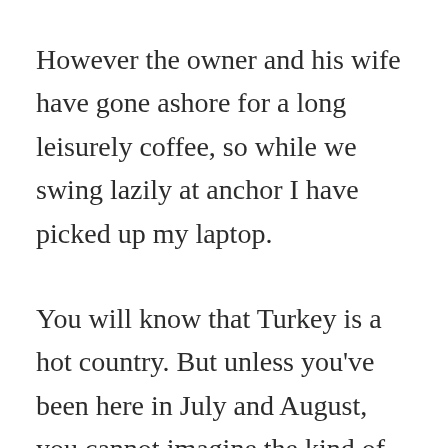However the owner and his wife have gone ashore for a long leisurely coffee, so while we swing lazily at anchor I have picked up my laptop.
You will know that Turkey is a hot country. But unless you've been here in July and August, you cannot imagine the kind of searing heat and humidity that make your throat swell with every breath you take. From 8 am it is hot, hot, hot and the wet air is heavy